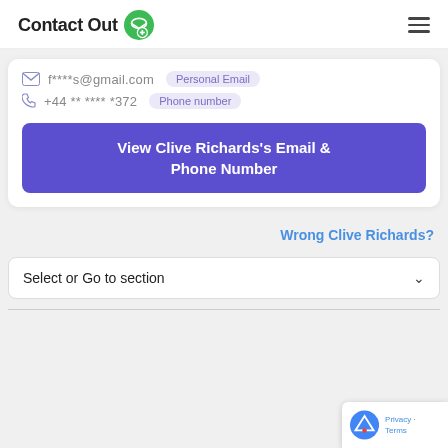ContactOut
f****s@gmail.com  Personal Email
+44 ** **** *372  Phone number
View Clive Richards's Email & Phone Number
Wrong Clive Richards?
Select or Go to section